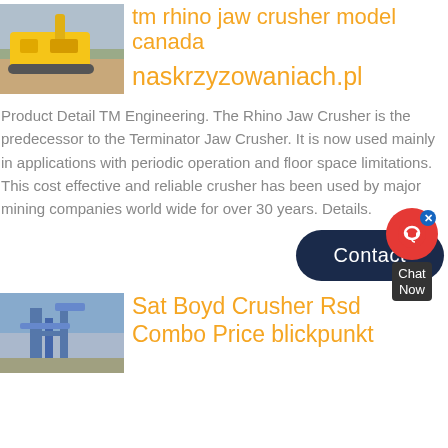[Figure (photo): Yellow tracked jaw crusher on job site]
tm rhino jaw crusher model canada
naskrzyzowaniach.pl
Product Detail TM Engineering. The Rhino Jaw Crusher is the predecessor to the Terminator Jaw Crusher. It is now used mainly in applications with periodic operation and floor space limitations. This cost effective and reliable crusher has been used by major mining companies world wide for over 30 years. Details.
[Figure (other): Chat Now widget with red icon and dark label]
Contact
[Figure (photo): Industrial crusher plant with blue piping and structure]
Sat Boyd Crusher Rsd Combo Price blickpunkt